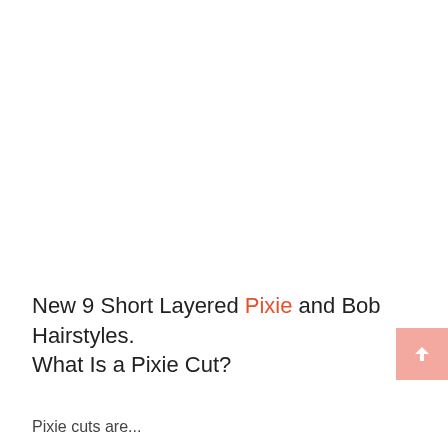New 9 Short Layered Pixie and Bob Hairstyles. What Is a Pixie Cut?
Pixie cuts are...